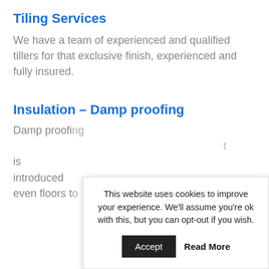Tiling Services
We have a team of experienced and qualified tillers for that exclusive finish, experienced and fully insured.
Insulation – Damp proofing
Damp proofing is introduced even floors to
This website uses cookies to improve your experience. We'll assume you're ok with this, but you can opt-out if you wish.
Accept  Read More